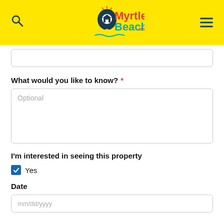[Figure (logo): MyrtleBeach.com logo with location pin icon on yellow header background]
What would you like to know? *
Optional (placeholder in text area)
I'm interested in seeing this property
Yes (checkbox checked)
Date
mm/dd/yyyy (placeholder in date input)